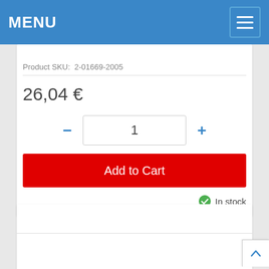MENU
Product SKU:  2-01669-2005
26,04 €
1
Add to Cart
In stock